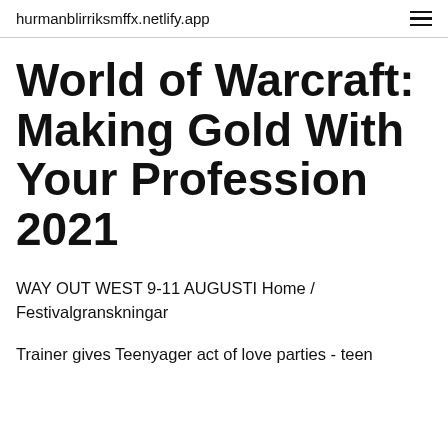hurmanblirriksmffx.netlify.app
World of Warcraft: Making Gold With Your Profession 2021
WAY OUT WEST 9-11 AUGUSTI Home / Festivalgranskningar
Trainer gives Teenyager act of love parties - teen